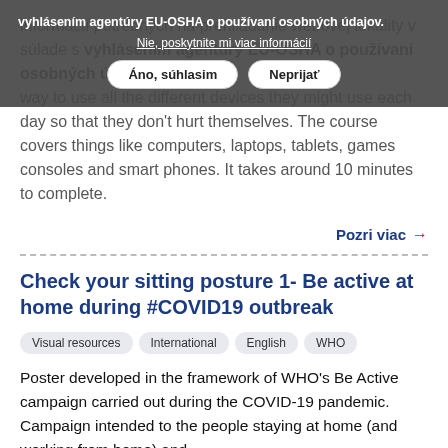informácií potrebných na prehliadanie webovej lokality v súlade s vyhlásením agentúry EU-OSHA o používaní osobných údajov. way to use all the different devices they might use each day so that they don't hurt themselves. The course covers things like computers, laptops, tablets, games consoles and smart phones. It takes around 10 minutes to complete.
Nie, poskytnite mi viac informácií
Áno, súhlasim | Neprijať
Pozri viac →
Check your sitting posture 1- Be active at home during #COVID19 outbreak
Visual resources
International
English
WHO
Poster developed in the framework of WHO's Be Active campaign carried out during the COVID-19 pandemic. Campaign intended to the people staying at home (and working from home) and